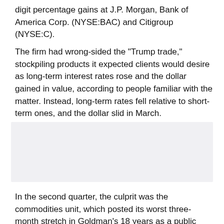digit percentage gains at J.P. Morgan, Bank of America Corp. (NYSE:BAC) and Citigroup (NYSE:C).
The firm had wrong-sided the "Trump trade," stockpiling products it expected clients would desire as long-term interest rates rose and the dollar gained in value, according to people familiar with the matter. Instead, long-term rates fell relative to short-term ones, and the dollar slid in March.
[Figure (other): Placeholder image area with light grey background]
In the second quarter, the culprit was the commodities unit, which posted its worst three-month stretch in Goldman's 18 years as a public company. The business ended the quarter in the black, but barely, as the bank struggled to adequately hedge its inventory, according to people